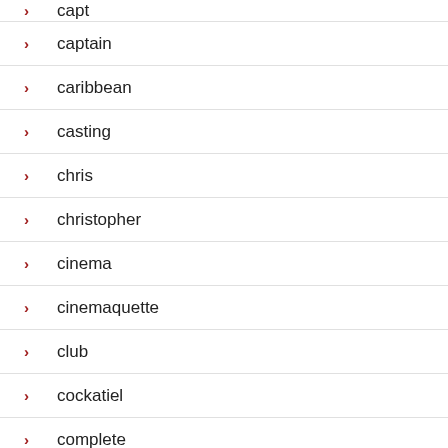capt
captain
caribbean
casting
chris
christopher
cinema
cinemaquette
club
cockatiel
complete
cosplay